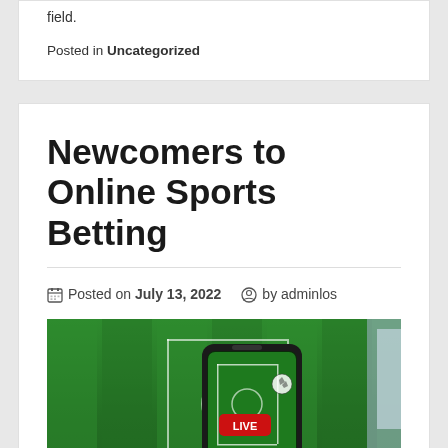field.
Posted in Uncategorized
Newcomers to Online Sports Betting
Posted on July 13, 2022 by adminlos
[Figure (photo): A hand holding a smartphone displaying a live sports betting app with a green football field background on a monitor behind it. The phone screen shows a live match with score 1-2 and a red LIVE button.]